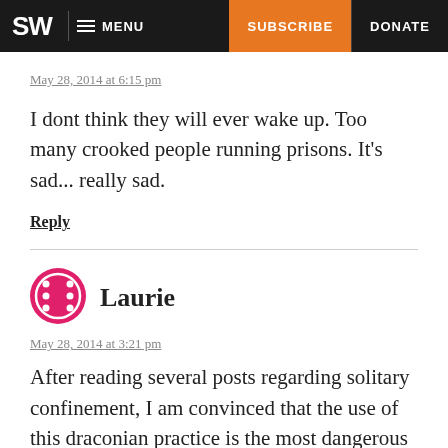SW  MENU  SUBSCRIBE  DONATE
May 28, 2014 at 6:15 pm
I dont think they will ever wake up. Too many crooked people running prisons. It's sad... really sad.
Reply
Laurie
May 28, 2014 at 3:21 pm
After reading several posts regarding solitary confinement, I am convinced that the use of this draconian practice is the most dangerous